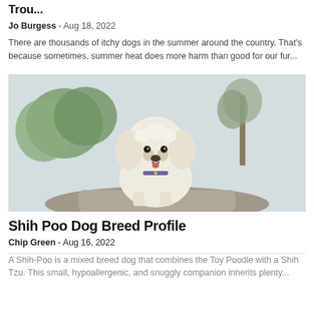Trou...
Jo Burgess - Aug 18, 2022
There are thousands of itchy dogs in the summer around the country. That's because sometimes, summer heat does more harm than good for our fur...
[Figure (photo): A small white fluffy Shih Poo dog sitting on a rock outdoors with trees in the background]
Shih Poo Dog Breed Profile
Chip Green - Aug 16, 2022
A Shih-Poo is a mixed breed dog that combines the Toy Poodle with a Shih Tzu. This small, hypoallergenic, and snuggly companion inherits plenty...